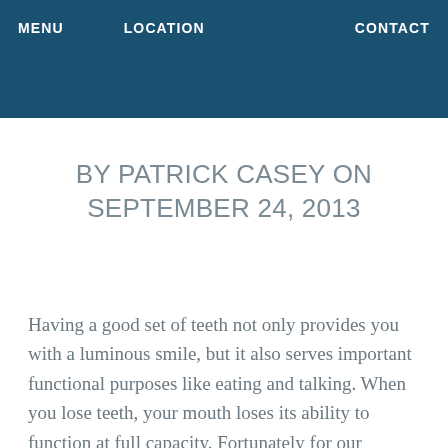MENU   LOCATION   CONTACT
BY PATRICK CASEY ON SEPTEMBER 24, 2013
Having a good set of teeth not only provides you with a luminous smile, but it also serves important functional purposes like eating and talking. When you lose teeth, your mouth loses its ability to function at full capacity. Fortunately for our Montreal